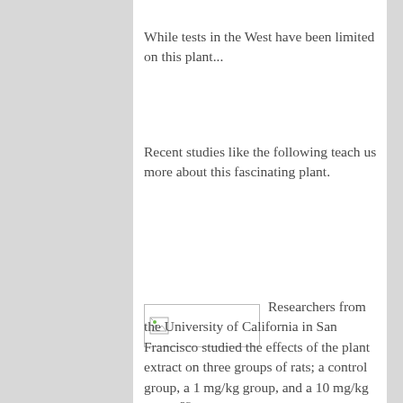While tests in the West have been limited on this plant...
Recent studies like the following teach us more about this fascinating plant.
[Figure (other): Broken image placeholder icon]
Researchers from the University of California in San Francisco studied the effects of the plant extract on three groups of rats; a control group, a 1 mg/kg group, and a 10 mg/kg group.23